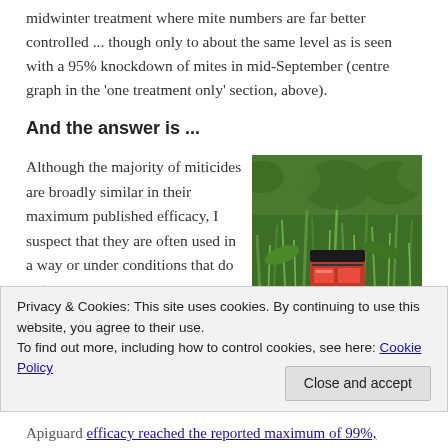midwinter treatment where mite numbers are far better controlled ... though only to about the same level as is seen with a 95% knockdown of mites in mid-September (centre graph in the 'one treatment only' section, above).
And the answer is ...
Although the majority of miticides are broadly similar in their maximum published efficacy, I suspect that they are often used in a way or under conditions that do not
[Figure (photo): A product (appears to be a red and black box/package) lying in green grass and vegetation outdoors.]
Apiguard efficacy reached the reported maximum of 99%,